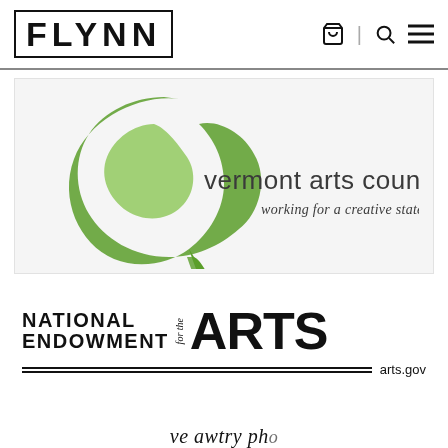FLYNN
[Figure (logo): Vermont Arts Council logo — green teardrop/leaf swoosh shape with text 'vermont arts council working for a creative state']
[Figure (logo): National Endowment for the Arts logo — bold text 'NATIONAL ENDOWMENT for the ARTS' with double horizontal rule and 'arts.gov']
[Figure (logo): Partially visible logo at bottom — 've awtry pho...' text visible]